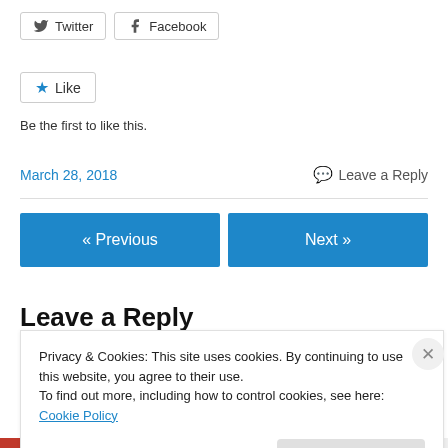[Figure (other): Twitter share button with bird icon]
[Figure (other): Facebook share button with f icon]
[Figure (other): Like button with blue star icon]
Be the first to like this.
March 28, 2018
Leave a Reply
« Previous
Next »
Leave a Reply
Privacy & Cookies: This site uses cookies. By continuing to use this website, you agree to their use.
To find out more, including how to control cookies, see here: Cookie Policy
Close and accept